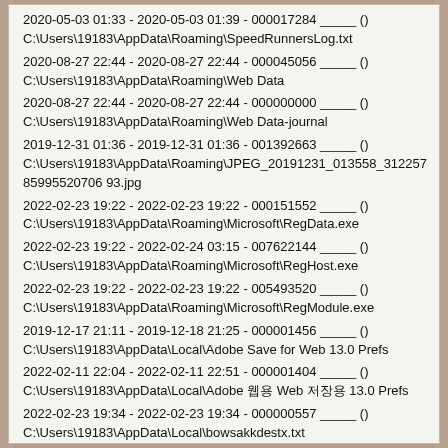2020-05-03 01:33 - 2020-05-03 01:39 - 000017284 _____ ()
C:\Users\19183\AppData\Roaming\SpeedRunnersLog.txt
2020-08-27 22:44 - 2020-08-27 22:44 - 000045056 _____ ()
C:\Users\19183\AppData\Roaming\Web Data
2020-08-27 22:44 - 2020-08-27 22:44 - 000000000 _____ ()
C:\Users\19183\AppData\Roaming\Web Data-journal
2019-12-31 01:36 - 2019-12-31 01:36 - 001392663 _____ ()
C:\Users\19183\AppData\Roaming\JPEG_20191231_013558_31225785995520706 93.jpg
2022-02-23 19:22 - 2022-02-23 19:22 - 000151552 _____ ()
C:\Users\19183\AppData\Roaming\Microsoft\RegData.exe
2022-02-23 19:22 - 2022-02-24 03:15 - 007622144 _____ ()
C:\Users\19183\AppData\Roaming\Microsoft\RegHost.exe
2022-02-23 19:22 - 2022-02-23 19:22 - 005493520 _____ ()
C:\Users\19183\AppData\Roaming\Microsoft\RegModule.exe
2019-12-17 21:11 - 2019-12-18 21:25 - 000001456 _____ ()
C:\Users\19183\AppData\Local\Adobe Save for Web 13.0 Prefs
2022-02-11 22:04 - 2022-02-11 22:51 - 000001404 _____ ()
C:\Users\19183\AppData\Local\Adobe 웹용 Web 저장용 13.0 Prefs
2022-02-23 19:34 - 2022-02-23 19:34 - 000000557 _____ ()
C:\Users\19183\AppData\Local\bowsakkdestx.txt
2019-05-25 22:59 - 2019-05-26 22:26 - 000013824 _____ ()
C:\Users\19183\AppData\Local\DCBC2A71-70D8-4DAN-EHR8-